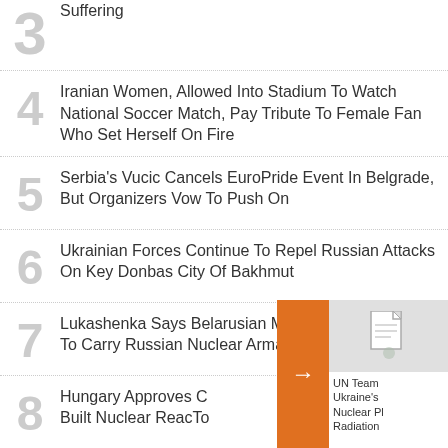3 Suffering
4 Iranian Women, Allowed Into Stadium To Watch National Soccer Match, Pay Tribute To Female Fan Who Set Herself On Fire
5 Serbia's Vucic Cancels EuroPride Event In Belgrade, But Organizers Vow To Push On
6 Ukrainian Forces Continue To Repel Russian Attacks On Key Donbas City Of Bakhmut
7 Lukashenka Says Belarusian Military Planes Ready To Carry Russian Nuclear Armament
8 Hungary Approves C... Built Nuclear Reac...
UN Team... Ukraine's... Nuclear Pl... Radiation...